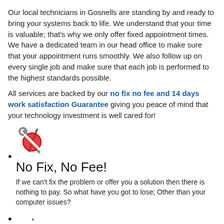Our local technicians in Gosnells are standing by and ready to bring your systems back to life. We understand that your time is valuable; that's why we only offer fixed appointment times. We have a dedicated team in our head office to make sure that your appointment runs smoothly. We also follow up on every single job and make sure that each job is performed to the highest standards possible.
All services are backed by our no fix no fee and 14 days work satisfaction Guarantee giving you peace of mind that your technology investment is well cared for!
No Fix, No Fee! — If we can't fix the problem or offer you a solution then there is nothing to pay. So what have you got to lose; Other than your computer issues?
Same Day Service